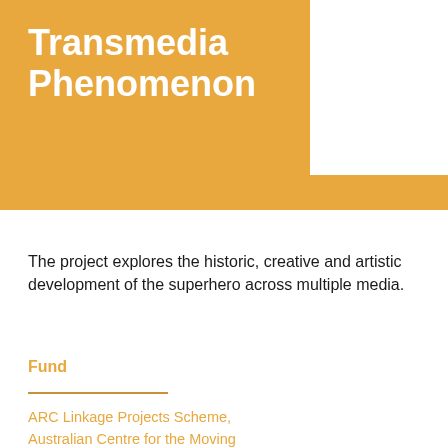Transmedia Phenomenon
The project explores the historic, creative and artistic development of the superhero across multiple media.
Fund
ARC Linkage Projects Scheme, Australian Centre for the Moving Image, 2016-19
Investigators